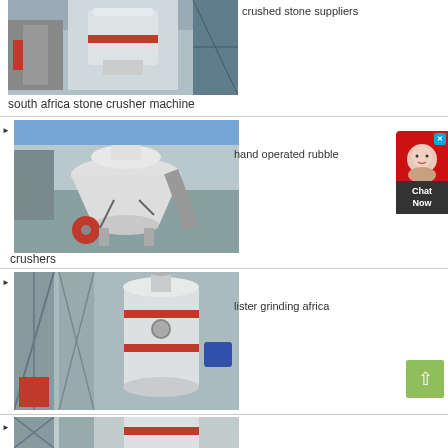[Figure (photo): Industrial grinding/milling machine in a factory setting, white and red colored machine]
crushed stone suppliers
south africa stone crusher machine
[Figure (photo): Large white cone crusher machine with red wheel in a factory]
hand operated rubble
crushers
[Figure (photo): Industrial grinding mill machine, white with red band, in factory yard]
lister grinding africa
[Figure (photo): Another industrial machine partially visible at bottom of page]